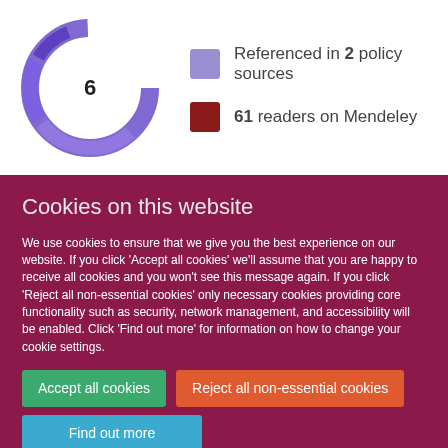[Figure (infographic): Altmetric donut badge showing score of 6 with purple/blue swirl ring]
Referenced in 2 policy sources
61 readers on Mendeley
Cookies on this website
We use cookies to ensure that we give you the best experience on our website. If you click 'Accept all cookies' we'll assume that you are happy to receive all cookies and you won't see this message again. If you click 'Reject all non-essential cookies' only necessary cookies providing core functionality such as security, network management, and accessibility will be enabled. Click 'Find out more' for information on how to change your cookie settings.
Accept all cookies
Reject all non-essential cookies
Find out more